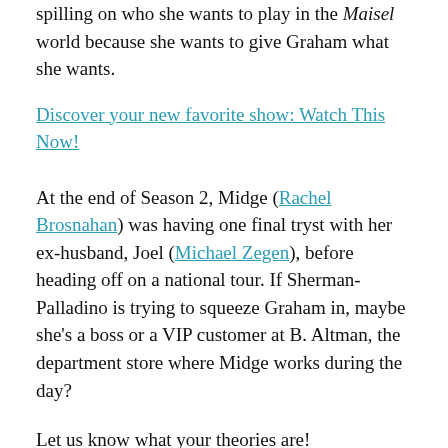spilling on who she wants to play in the Maisel world because she wants to give Graham what she wants.
Discover your new favorite show: Watch This Now!
At the end of Season 2, Midge (Rachel Brosnahan) was having one final tryst with her ex-husband, Joel (Michael Zegen), before heading off on a national tour. If Sherman-Palladino is trying to squeeze Graham in, maybe she's a boss or a VIP customer at B. Altman, the department store where Midge works during the day?
Let us know what your theories are!
The Marvelous Mrs. Maisel is currently streaming on Amazon.